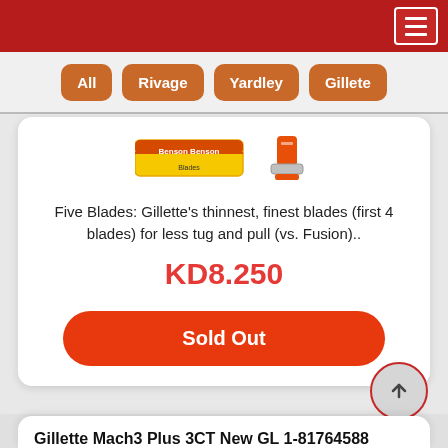Navigation header with menu icon
All
Rivage
Yardley
Gillete
[Figure (photo): Product images: razor blade pack (yellow/red label) and orange razor]
Five Blades: Gillette's thinnest, finest blades (first 4 blades) for less tug and pull (vs. Fusion)..
KD8.250
Sold Out
Gillette Mach3 Plus 3CT New GL 1-81764588